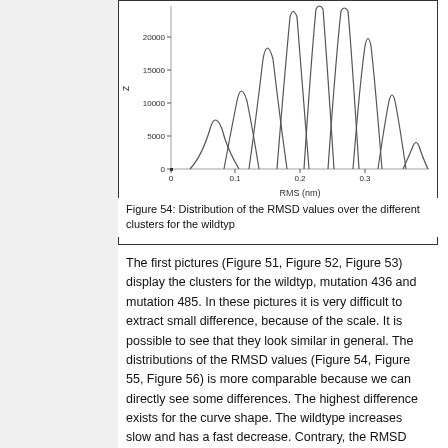[Figure (continuous-plot): Distribution of RMSD values over different clusters for the wildtype. Multiple overlapping bell-curve-shaped peaks at different RMS (nm) positions (0 to ~0.35), y-axis labeled 'z' from 0 to ~23000, x-axis labeled 'RMS (nm)' from 0 to ~0.35.]
Figure 54: Distribution of the RMSD values over the different clusters for the wildtyp
The first pictures (Figure 51, Figure 52, Figure 53) display the clusters for the wildtyp, mutation 436 and mutation 485. In these pictures it is very difficult to extract small difference, because of the scale. It is possible to see that they look similar in general. The distributions of the RMSD values (Figure 54, Figure 55, Figure 56) is more comparable because we can directly see some differences. The highest difference exists for the curve shape. The wildtype increases slow and has a fast decrease. Contrary, the RMSD distribution for both mutations acts contrary. This means